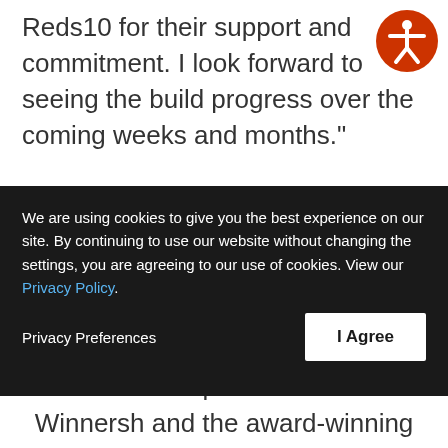Reds10 for their support and commitment. I look forward to seeing the build progress over the coming weeks and months."

Oak Tree School is being built by off-site construction specialist Reds10 who have a great reputation for working closely with the Wokingham community to minimise the impact
[Figure (illustration): Orange circle with white accessibility icon (person with arms and legs spread)]
We are using cookies to give you the best experience on our site. By continuing to use our website without changing the settings, you are agreeing to our use of cookies. View our Privacy Policy.
Privacy Preferences    I Agree
Winnersh and the award-winning